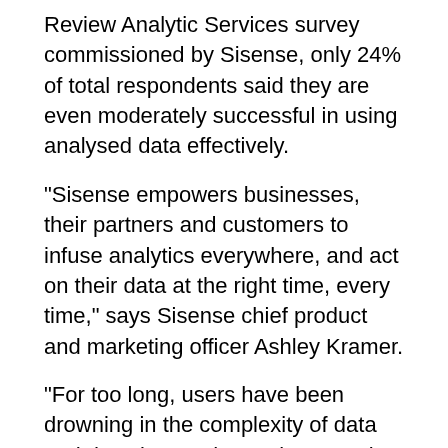Review Analytic Services survey commissioned by Sisense, only 24% of total respondents said they are even moderately successful in using analysed data effectively.
“Sisense empowers businesses, their partners and customers to infuse analytics everywhere, and act on their data at the right time, every time,” says Sisense chief product and marketing officer Ashley Kramer.
“For too long, users have been drowning in the complexity of data and don’t know what actions to take.
“We are removing these hurdles and delivering actionable intelligence where people work, in their applications, workflows and business process so they can focus on innovation and disrupt markets.”
Kramer says many companies aren’t achieving the